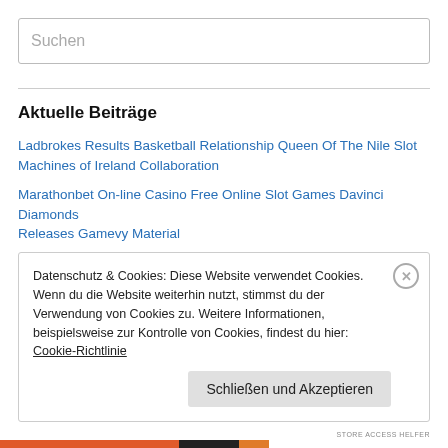Suchen
Aktuelle Beiträge
Ladbrokes Results Basketball Relationship Queen Of The Nile Slot Machines of Ireland Collaboration
Marathonbet On-line Casino Free Online Slot Games Davinci Diamonds Releases Gamevy Material
Game Lounge Expands into UK and German Affiliate Markets Big Red Pokie Online through Interclick Acquisition
PokerStars Finalized as International Poker League Contribute Indian...
Datenschutz & Cookies: Diese Website verwendet Cookies. Wenn du die Website weiterhin nutzt, stimmst du der Verwendung von Cookies zu. Weitere Informationen, beispielsweise zur Kontrolle von Cookies, findest du hier: Cookie-Richtlinie
Schließen und Akzeptieren